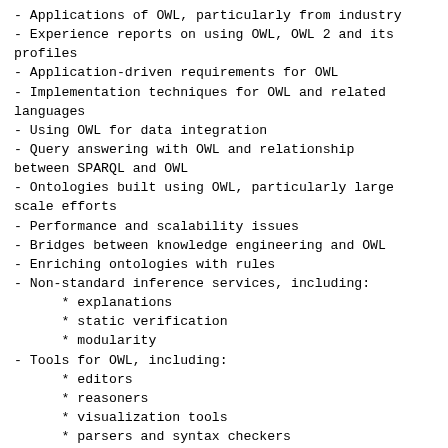- Applications of OWL, particularly from industry
- Experience reports on using OWL, OWL 2 and its profiles
- Application-driven requirements for OWL
- Implementation techniques for OWL and related languages
- Using OWL for data integration
- Query answering with OWL and relationship between SPARQL and OWL
- Ontologies built using OWL, particularly large scale efforts
- Performance and scalability issues
- Bridges between knowledge engineering and OWL
- Enriching ontologies with rules
- Non-standard inference services, including:
      * explanations
      * static verification
      * modularity
- Tools for OWL, including:
      * editors
      * reasoners
      * visualization tools
      * parsers and syntax checkers
      * versioning frameworks
- Extensions to OWL, including:
      * extended constructors for datatypes, properties or classes
      * keys, constraints, rules
      * non-monotonic, probabilistic or fuzzy